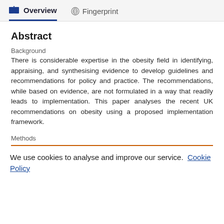Overview   Fingerprint
Abstract
Background
There is considerable expertise in the obesity field in identifying, appraising, and synthesising evidence to develop guidelines and recommendations for policy and practice. The recommendations, while based on evidence, are not formulated in a way that readily leads to implementation. This paper analyses the recent UK recommendations on obesity using a proposed implementation framework.
Methods
We use cookies to analyse and improve our service.  Cookie Policy